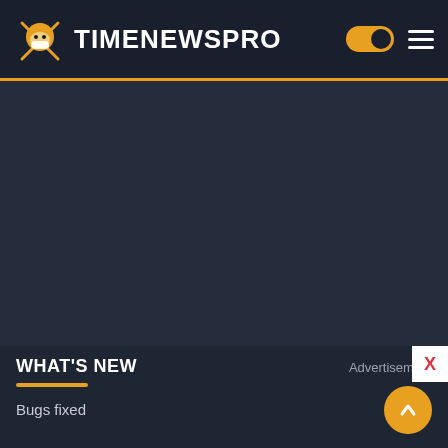TIMENEWSPRO
[Figure (screenshot): Dark empty content area placeholder]
WHAT'S NEW
Advertisement
Bugs fixed